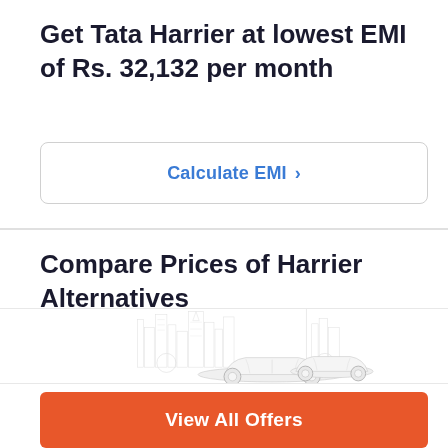Get Tata Harrier at lowest EMI of Rs. 32,132 per month
Calculate EMI >
Compare Prices of Harrier Alternatives
[Figure (illustration): Two car illustrations with city skyline background, showing car comparison section]
View All Offers